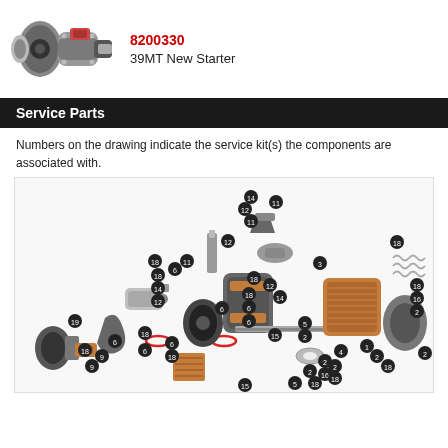[Figure (photo): Photo of 39MT New Starter motor, a heavy-duty electric starter with black and silver casing]
8200330
39MT New Starter
Service Parts
Numbers on the drawing indicate the service kit(s) the components are associated with.
[Figure (engineering-diagram): Exploded view diagram of the 39MT New Starter motor showing all components with numbered callout circles (numbers 1-19) indicating service kits. Components include armature, field coils, drive housing, solenoid, brushes, bearings, and other internal parts.]